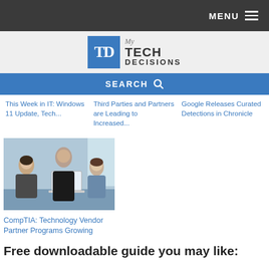MENU
[Figure (logo): My Tech Decisions logo with blue TD monogram box and text]
SEARCH
This Week in IT: Windows 11 Update, Tech...
Third Parties and Partners are Leading to Increased...
Google Releases Curated Detections in Chronicle
[Figure (photo): Three people in a meeting around a laptop in an office setting]
CompTIA: Technology Vendor Partner Programs Growing
Free downloadable guide you may like: